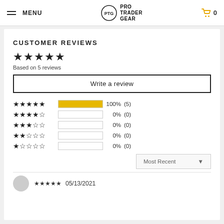MENU | PRO TRADER GEAR | 0
CUSTOMER REVIEWS
★★★★★
Based on 5 reviews
Write a review
[Figure (bar-chart): Star rating distribution]
Most Recent
★★★★★ 05/13/2021